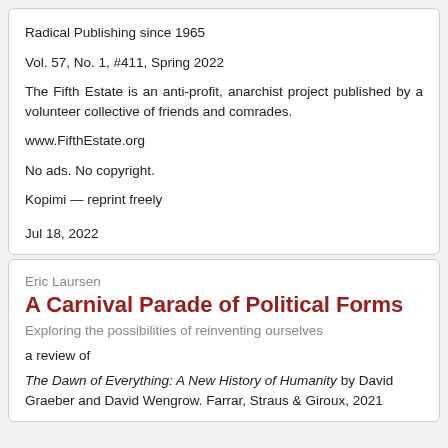Radical Publishing since 1965
Vol. 57, No. 1, #411, Spring 2022
The Fifth Estate is an anti-profit, anarchist project published by a volunteer collective of friends and comrades.
www.FifthEstate.org
No ads. No copyright.
Kopimi — reprint freely
Jul 18, 2022
Eric Laursen
A Carnival Parade of Political Forms
Exploring the possibilities of reinventing ourselves
a review of
The Dawn of Everything: A New History of Humanity by David Graeber and David Wengrow. Farrar, Straus & Giroux, 2021